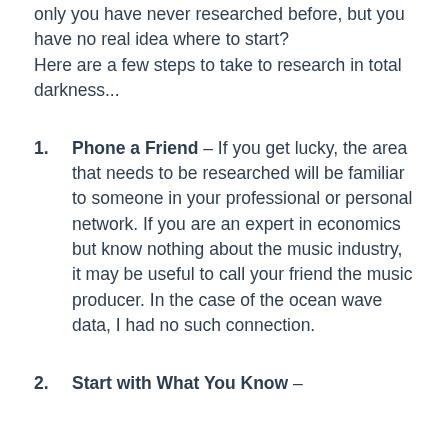only you have never researched before, but you have no real idea where to start? Here are a few steps to take to research in total darkness...
1. Phone a Friend – If you get lucky, the area that needs to be researched will be familiar to someone in your professional or personal network. If you are an expert in economics but know nothing about the music industry, it may be useful to call your friend the music producer. In the case of the ocean wave data, I had no such connection.
2. Start with What You Know –